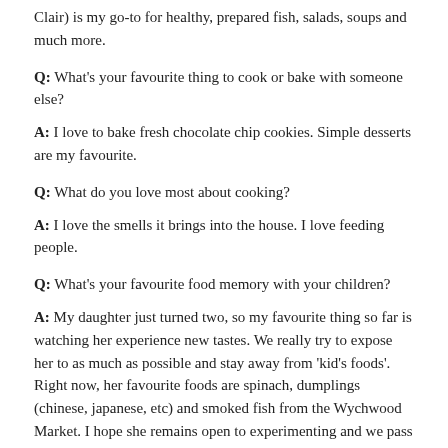Clair) is my go-to for healthy, prepared fish, salads, soups and much more.
Q: What's your favourite thing to cook or bake with someone else?
A: I love to bake fresh chocolate chip cookies. Simple desserts are my favourite.
Q: What do you love most about cooking?
A: I love the smells it brings into the house. I love feeding people.
Q: What's your favourite food memory with your children?
A: My daughter just turned two, so my favourite thing so far is watching her experience new tastes. We really try to expose her to as much as possible and stay away from 'kid's foods'. Right now, her favourite foods are spinach, dumplings (chinese, japanese, etc) and smoked fish from the Wychwood Market. I hope she remains open to experimenting and we pass on our love and passion for food to her.